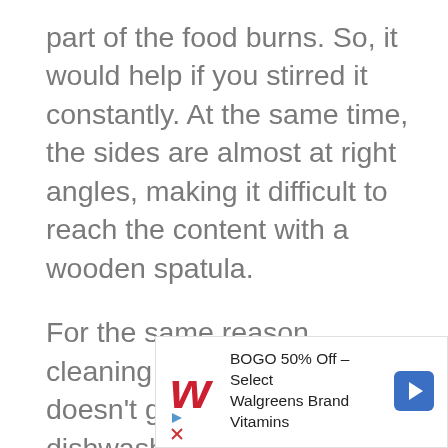part of the food burns. So, it would help if you stirred it constantly. At the same time, the sides are almost at right angles, making it difficult to reach the content with a wooden spatula.
For the same reason, cleaning a saucepan, which doesn’t go into the dishwasher, is a demanding job that involves dipping and a lot of scrubbing. Depending on the saucepan material,
[Figure (other): Walgreens advertisement: BOGO 50% Off - Select Walgreens Brand Vitamins, with Walgreens logo and navigation arrow icon]